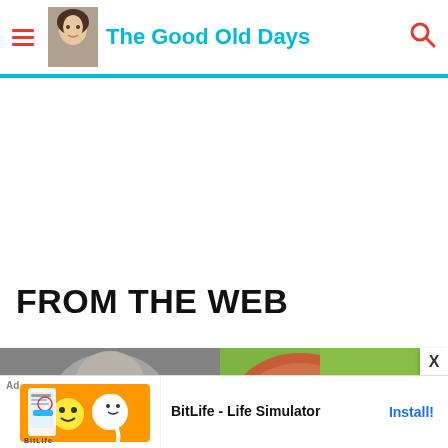The Good Old Days
FROM THE WEB
[Figure (photo): Two thumbnail images side by side: left shows a person's face (grayscale), right shows a watermelon (green)]
[Figure (screenshot): Ad banner at bottom: BitLife - Life Simulator with Install button]